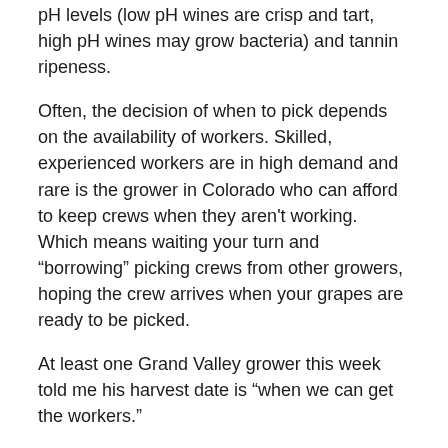pH levels (low pH wines are crisp and tart, high pH wines may grow bacteria) and tannin ripeness.
Often, the decision of when to pick depends on the availability of workers. Skilled, experienced workers are in high demand and rare is the grower in Colorado who can afford to keep crews when they aren't working. Which means waiting your turn and “borrowing” picking crews from other growers, hoping the crew arrives when your grapes are ready to be picked.
At least one Grand Valley grower this week told me his harvest date is “when we can get the workers.”
Kyle Schlachter named to Top 40 under 40 – Kyle Schlachter, a familiar face to the Colorado wine industry in his role as Outreach Coordinator for the state Department of Agriculture and the Colorado Wine Industry